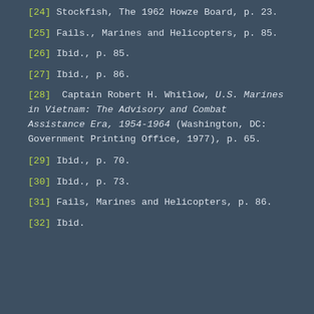[24] Stockfish, The 1962 Howze Board, p. 23.
[25] Fails., Marines and Helicopters, p. 85.
[26] Ibid., p. 85.
[27] Ibid., p. 86.
[28] Captain Robert H. Whitlow, U.S. Marines in Vietnam: The Advisory and Combat Assistance Era, 1954-1964 (Washington, DC: Government Printing Office, 1977), p. 65.
[29] Ibid., p. 70.
[30] Ibid., p. 73.
[31] Fails, Marines and Helicopters, p. 86.
[32] Ibid.